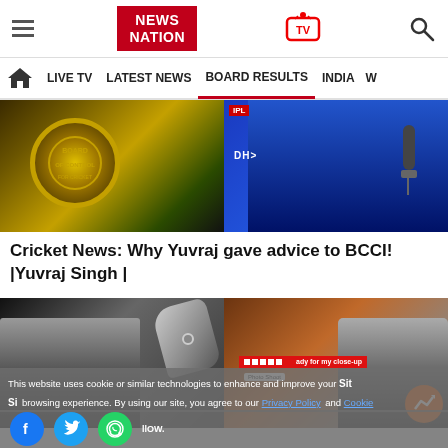News Nation - LIVE TV | LATEST NEWS | BOARD RESULTS | INDIA
[Figure (photo): Two-panel image: left panel shows BCCI logo (circular gold emblem on dark background), right panel shows cricket player in blue jersey with microphone]
Cricket News: Why Yuvraj gave advice to BCCI! |Yuvraj Singh |
[Figure (photo): Two-panel image: left panel is black-and-white photo of person with hand near face wearing ring, right panel shows man with glasses sitting in chair]
This website uses cookie or similar technologies to enhance and improve your browsing experience. By using our site, you agree to our Privacy Policy and Cookie